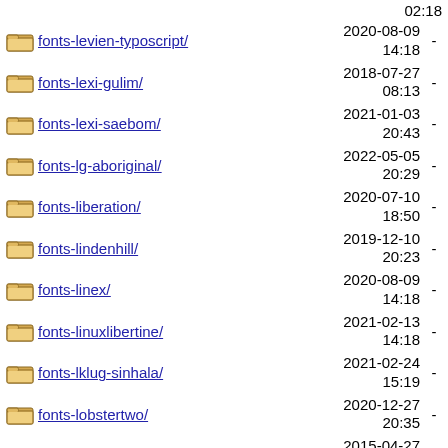fonts-levien-typoscript/ 2020-08-09 14:18 -
fonts-lexi-gulim/ 2018-07-27 08:13 -
fonts-lexi-saebom/ 2021-01-03 20:43 -
fonts-lg-aboriginal/ 2022-05-05 20:29 -
fonts-liberation/ 2020-07-10 18:50 -
fonts-lindenhill/ 2019-12-10 20:23 -
fonts-linex/ 2020-08-09 14:18 -
fonts-linuxlibertine/ 2021-02-13 14:18 -
fonts-lklug-sinhala/ 2021-02-24 15:19 -
fonts-lobstertwo/ 2020-12-27 20:35 -
fonts-lohit-beng-assamese/ 2015-04-27 13:00 -